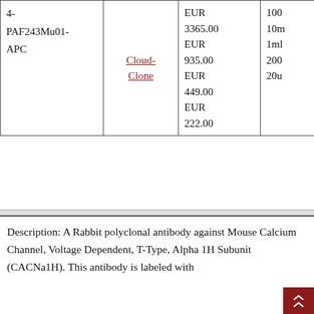| ID | Supplier | Price | Size |
| --- | --- | --- | --- |
| 4-PAF243Mu01-APC | Cloud-Clone | EUR
3365.00
EUR
935.00
EUR
449.00
EUR
222.00 | 100
10m
1ml
200
20u |
Description: A Rabbit polyclonal antibody against Mouse Calcium Channel, Voltage Dependent, T-Type, Alpha 1H Subunit (CACNa1H). This antibody is labeled with APC.